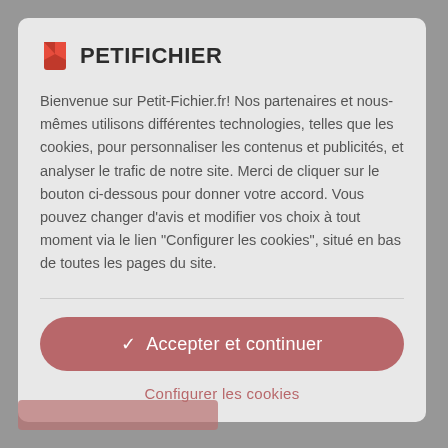[Figure (logo): PetitFichier logo with red bookmark icon and bold uppercase text PETIFICHIER]
Bienvenue sur Petit-Fichier.fr! Nos partenaires et nous-mêmes utilisons différentes technologies, telles que les cookies, pour personnaliser les contenus et publicités, et analyser le trafic de notre site. Merci de cliquer sur le bouton ci-dessous pour donner votre accord. Vous pouvez changer d'avis et modifier vos choix à tout moment via le lien "Configurer les cookies", situé en bas de toutes les pages du site.
✓  Accepter et continuer
Configurer les cookies